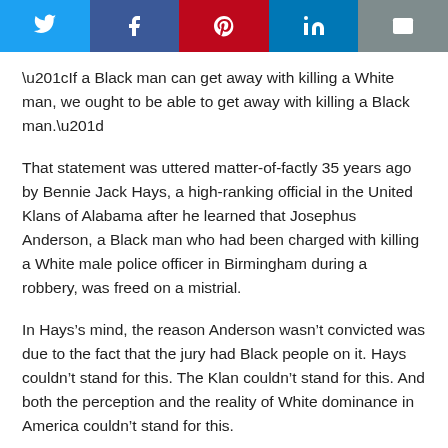[Figure (other): Social media share buttons bar: Twitter (blue), Facebook (dark blue), Pinterest (red), LinkedIn (blue), Email (gray)]
“If a Black man can get away with killing a White man, we ought to be able to get away with killing a Black man.”
That statement was uttered matter-of-factly 35 years ago by Bennie Jack Hays, a high-ranking official in the United Klans of Alabama after he learned that Josephus Anderson, a Black man who had been charged with killing a White male police officer in Birmingham during a robbery, was freed on a mistrial.
In Hays’s mind, the reason Anderson wasn’t convicted was due to the fact that the jury had Black people on it. Hays couldn’t stand for this. The Klan couldn’t stand for this. And both the perception and the reality of White dominance in America couldn’t stand for this.
In America, injustice is never supposed to be meted out in